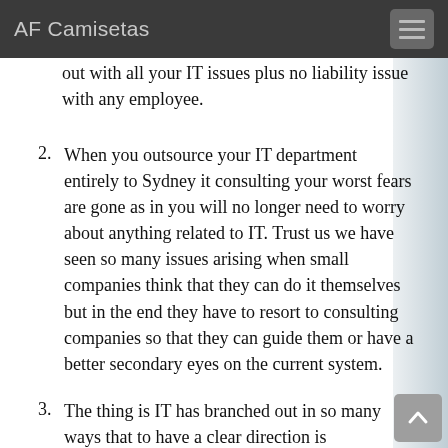AF Camisetas
out with all your IT issues plus no liability issue with any employee.
When you outsource your IT department entirely to Sydney it consulting your worst fears are gone as in you will no longer need to worry about anything related to IT. Trust us we have seen so many issues arising when small companies think that they can do it themselves but in the end they have to resort to consulting companies so that they can guide them or have a better secondary eyes on the current system.
The thing is IT has branched out in so many ways that to have a clear direction is